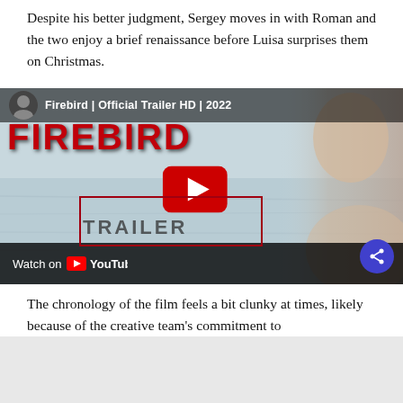Despite his better judgment, Sergey moves in with Roman and the two enjoy a brief renaissance before Luisa surprises them on Christmas.
[Figure (screenshot): YouTube embed thumbnail for 'Firebird | Official Trailer HD | 2022' showing the FIREBIRD title in red letters over a wintry background with a person's face on the right, a red YouTube play button in the center, and a 'Watch on YouTube' bar at the bottom with a share button.]
The chronology of the film feels a bit clunky at times, likely because of the creative team's commitment to